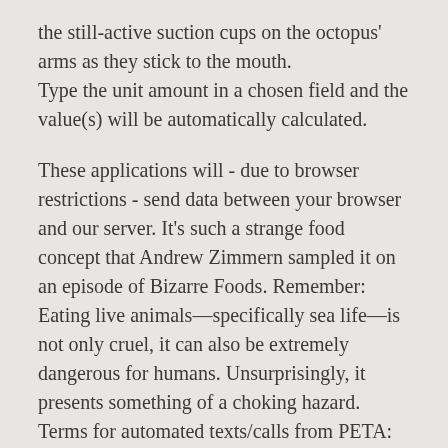the still-active suction cups on the octopus' arms as they stick to the mouth. Type the unit amount in a chosen field and the value(s) will be automatically calculated.
These applications will - due to browser restrictions - send data between your browser and our server. It's such a strange food concept that Andrew Zimmern sampled it on an episode of Bizarre Foods. Remember: Eating live animals—specifically sea life—is not only cruel, it can also be extremely dangerous for humans. Unsurprisingly, it presents something of a choking hazard. Terms for automated texts/calls from PETA: Octopuses are bright, curious, playful ly creatures of the C... (1...2...)